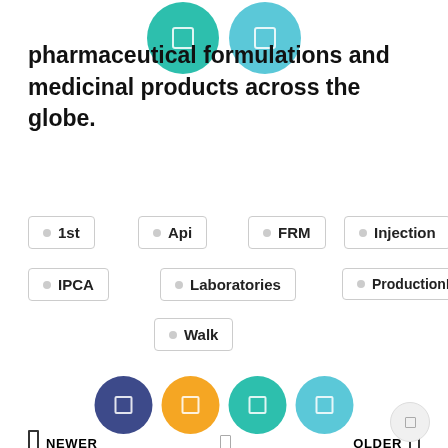[Figure (illustration): Two circular social share buttons (teal and light blue) at the top of the page]
pharmaceutical formulations and medicinal products across the globe.
1st
Api
FRM
Injection
IPCA
Laboratories
ProductionPacking
Walk
[Figure (illustration): Four social media circular icon buttons: navy blue, orange, teal, light blue]
NEWER   OLDER